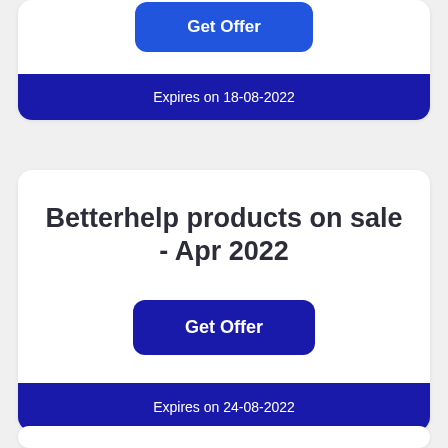[Figure (other): Top partial card with a blue 'Get Offer' button and dark navy expiry footer showing 'Expires on 18-08-2022']
Betterhelp products on sale - Apr 2022
Get Offer
Expires on 24-08-2022
Expires on 18-08-2022